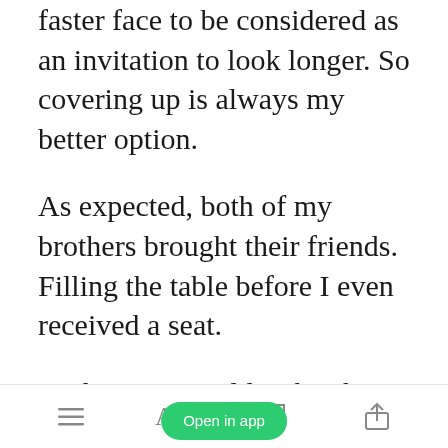faster face to be considered as an invitation to look longer. So covering up is always my better option.
As expected, both of my brothers brought their friends. Filling the table before I even received a seat.
Andrew is my oldest brother. A senior in high school and captain of the football team. No one knows
Open in app [toolbar icons]